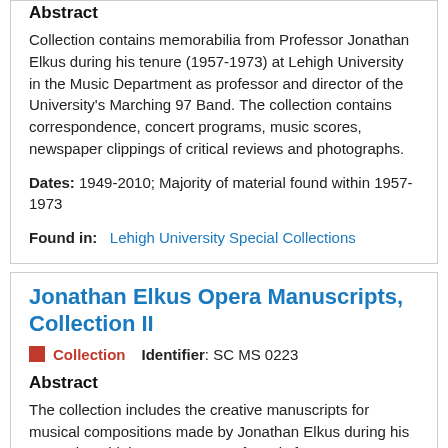Abstract
Collection contains memorabilia from Professor Jonathan Elkus during his tenure (1957-1973) at Lehigh University in the Music Department as professor and director of the University's Marching 97 Band. The collection contains correspondence, concert programs, music scores, newspaper clippings of critical reviews and photographs.
Dates: 1949-2010; Majority of material found within 1957-1973
Found in: Lehigh University Special Collections
Jonathan Elkus Opera Manuscripts, Collection II
Collection   Identifier: SC MS 0223
Abstract
The collection includes the creative manuscripts for musical compositions made by Jonathan Elkus during his tenure in Lehigh's Department of Music from 1957 to 1973.